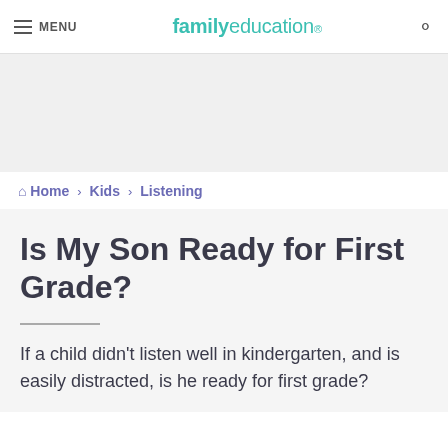MENU  familyeducation
[Figure (other): Advertisement banner placeholder area]
Home › Kids › Listening
Is My Son Ready for First Grade?
If a child didn't listen well in kindergarten, and is easily distracted, is he ready for first grade?